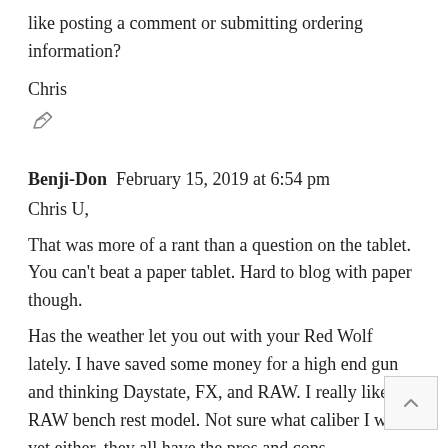like posting a comment or submitting ordering information?
Chris
[Figure (other): Edit/pencil icon]
Benji-Don  February 15, 2019 at 6:54 pm
Chris U,
That was more of a rant than a question on the tablet. You can't beat a paper tablet. Hard to blog with paper though.
Has the weather let you out with your Red Wolf lately. I have saved some money for a high end gun and thinking Daystate, FX, and RAW. I really like the RAW bench rest model. Not sure what caliber I want yet either, they all have the pros and cons.
Log in to Reply